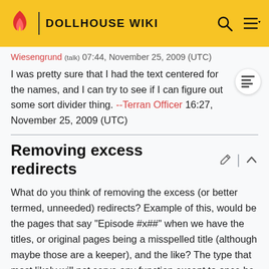DOLLHOUSE WIKI
Wiesengrund (talk) 07:44, November 25, 2009 (UTC)
I was pretty sure that I had the text centered for the names, and I can try to see if I can figure out some sort divider thing. --Terran Officer 16:27, November 25, 2009 (UTC)
Removing excess redirects
What do you think of removing the excess (or better termed, unneeded) redirects? Example of this, would be the pages that say "Episode #x##" when we have the titles, or original pages being a misspelled title (although maybe those are a keeper), and the like? The type that most likely will not serve any function except to once be a place holder for a future page or untitled page that had